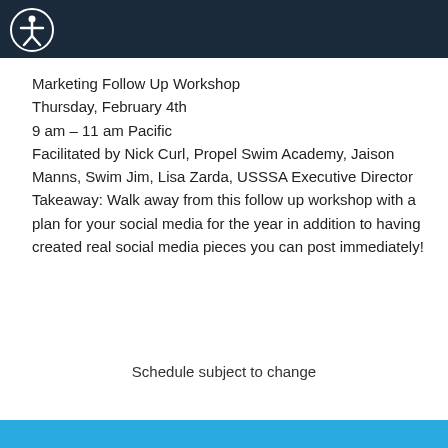[Figure (logo): Accessibility icon (person with arms outstretched in a circle) in white on dark navy header bar]
Marketing Follow Up Workshop
Thursday, February 4th
9 am – 11 am Pacific
Facilitated by Nick Curl, Propel Swim Academy, Jaison Manns, Swim Jim, Lisa Zarda, USSSA Executive Director
Takeaway: Walk away from this follow up workshop with a plan for your social media for the year in addition to having created real social media pieces you can post immediately!
Schedule subject to change